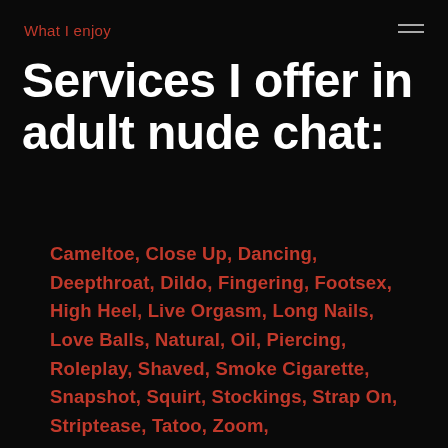What I enjoy
Services I offer in adult nude chat:
Cameltoe, Close Up, Dancing, Deepthroat, Dildo, Fingering, Footsex, High Heel, Live Orgasm, Long Nails, Love Balls, Natural, Oil, Piercing, Roleplay, Shaved, Smoke Cigarette, Snapshot, Squirt, Stockings, Strap On, Striptease, Tatoo, Zoom,